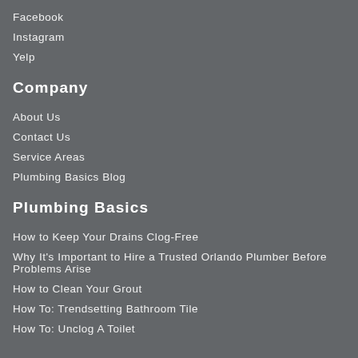Facebook
Instagram
Yelp
Company
About Us
Contact Us
Service Areas
Plumbing Basics Blog
Plumbing Basics
How to Keep Your Drains Clog-Free
Why It's Important to Hire a Trusted Orlando Plumber Before Problems Arise
How to Clean Your Grout
How To: Trendsetting Bathroom Tile
How To: Unclog A Toilet